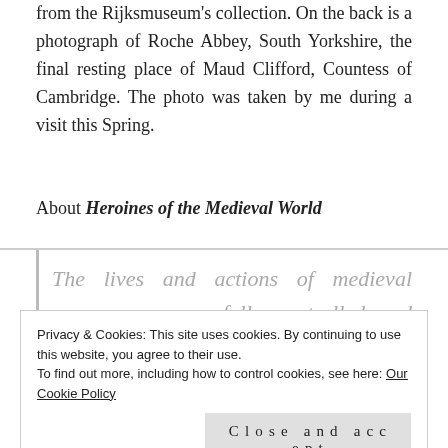from the Rijksmuseum's collection. On the back is a photograph of Roche Abbey, South Yorkshire, the final resting place of Maud Clifford, Countess of Cambridge. The photo was taken by me during a visit this Spring.
About Heroines of the Medieval World
The lives and actions of medieval women were carefully controlled and restricted by the men who ruled the homes, countries and
Privacy & Cookies: This site uses cookies. By continuing to use this website, you agree to their use.
To find out more, including how to control cookies, see here: Our Cookie Policy
Close and accept
to fight to defend their people and country